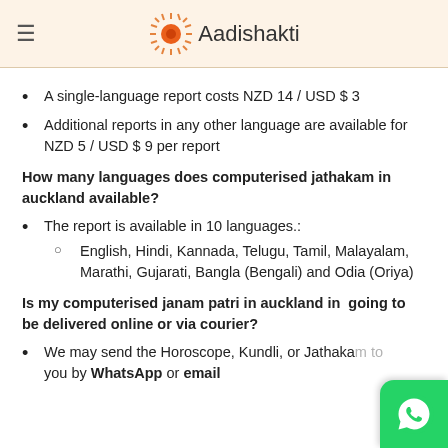Aadishakti
A single-language report costs NZD 14 / USD $ 3
Additional reports in any other language are available for NZD 5 / USD $ 9 per report
How many languages does computerised jathakam in auckland available?
The report is available in 10 languages.:
English, Hindi, Kannada, Telugu, Tamil, Malayalam, Marathi, Gujarati, Bangla (Bengali) and Odia (Oriya)
Is my computerised janam patri in auckland in  going to be delivered online or via courier?
We may send the Horoscope, Kundli, or Jathakam to you by WhatsApp or email